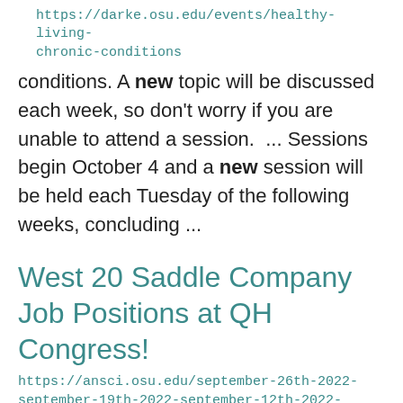https://darke.osu.edu/events/healthy-living-chronic-conditions
conditions. A new topic will be discussed each week, so don't worry if you are unable to attend a session.  ... Sessions begin October 4 and a new session will be held each Tuesday of the following weeks, concluding ...
West 20 Saddle Company Job Positions at QH Congress!
https://ansci.osu.edu/september-26th-2022-september-19th-2022-september-12th-2022-september-5th-2022/west-20-saddle
located in East Troy, Wisconsin and have employed many Ohio State students...